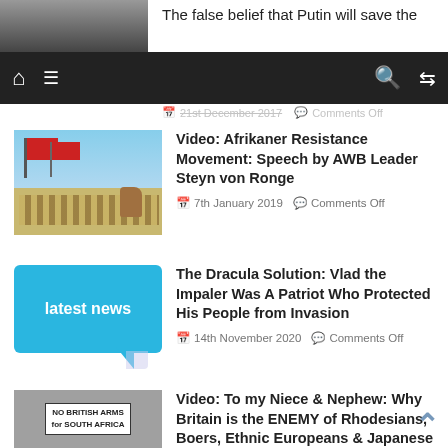[Figure (screenshot): Partial top article thumbnail cut off at top]
The false belief that Putin will save the
[Figure (screenshot): Navigation bar with home, menu, search, and shuffle icons on dark background]
21st December 2017  Comments Off
[Figure (photo): Afrikaner Resistance Movement march with red flags and people on camel]
Video: Afrikaner Resistance Movement: Speech by AWB Leader Steyn von Ronge
7th January 2019  Comments Off
[Figure (logo): Latest news speech bubble logo in cyan/blue]
The Dracula Solution: Vlad the Impaler Was A Patriot Who Protected His People from Invasion
14th November 2020  Comments Off
[Figure (photo): Black and white protest photo with sign reading NO BRITISH ARMS for SOUTH AFRICA]
Video: To my Niece & Nephew: Why Britain is the ENEMY of Rhodesians, Boers, Ethnic Europeans & Japanese
30th November 2017  Comments Off